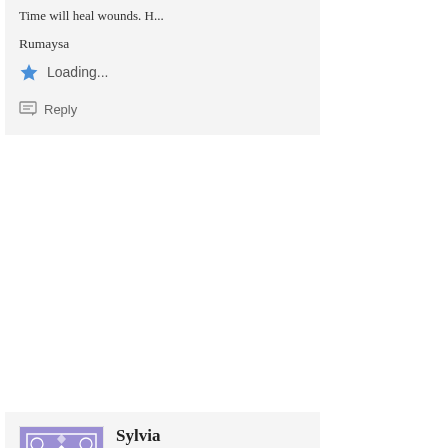Time will heal wounds. R...
Rumaysa
Loading...
Reply
Sylvia
April 13, 201...
My dear,
Your husband was in the... woman. He also hurt this... should never stay in a m... You can do this by giving... see that you can not give... trust him. You can forgive... betrayed your trust? This... He shamed you and you... stay. You may not know... Your family have a right t...